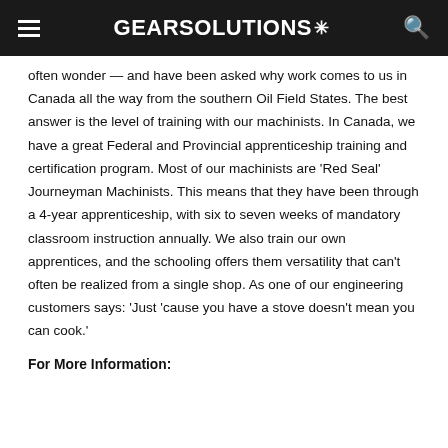GEARSolutions
often wonder — and have been asked why work comes to us in Canada all the way from the southern Oil Field States. The best answer is the level of training with our machinists. In Canada, we have a great Federal and Provincial apprenticeship training and certification program. Most of our machinists are 'Red Seal' Journeyman Machinists. This means that they have been through a 4-year apprenticeship, with six to seven weeks of mandatory classroom instruction annually. We also train our own apprentices, and the schooling offers them versatility that can't often be realized from a single shop. As one of our engineering customers says: 'Just 'cause you have a stove doesn't mean you can cook.'
For More Information: